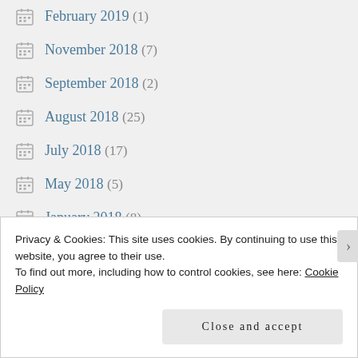February 2019 (1)
November 2018 (7)
September 2018 (2)
August 2018 (25)
July 2018 (17)
May 2018 (5)
January 2018 (8)
November 2017 (3)
October 2017 (9)
Privacy & Cookies: This site uses cookies. By continuing to use this website, you agree to their use.
To find out more, including how to control cookies, see here: Cookie Policy
Close and accept